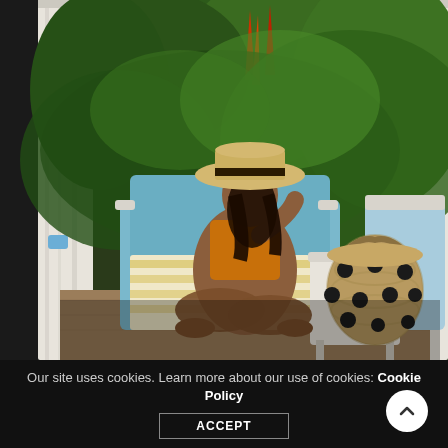[Figure (photo): A woman wearing a straw hat and orange swimsuit sits cross-legged on a blue lounge chair inside a white curtained cabana. Lush tropical green plants are visible in the background. A wicker tote bag with black polka dots sits on a side table next to her. A striped towel is on the lounger.]
Our site uses cookies. Learn more about our use of cookies: Cookie Policy
ACCEPT